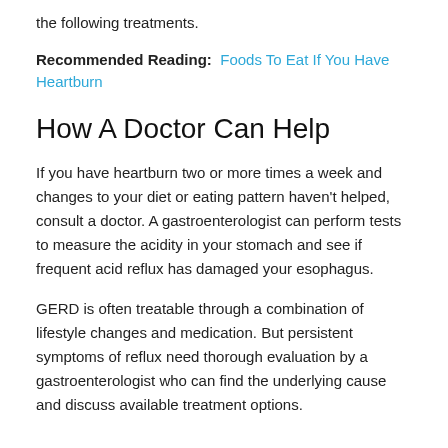the following treatments.
Recommended Reading: Foods To Eat If You Have Heartburn
How A Doctor Can Help
If you have heartburn two or more times a week and changes to your diet or eating pattern haven't helped, consult a doctor. A gastroenterologist can perform tests to measure the acidity in your stomach and see if frequent acid reflux has damaged your esophagus.
GERD is often treatable through a combination of lifestyle changes and medication. But persistent symptoms of reflux need thorough evaluation by a gastroenterologist who can find the underlying cause and discuss available treatment options.